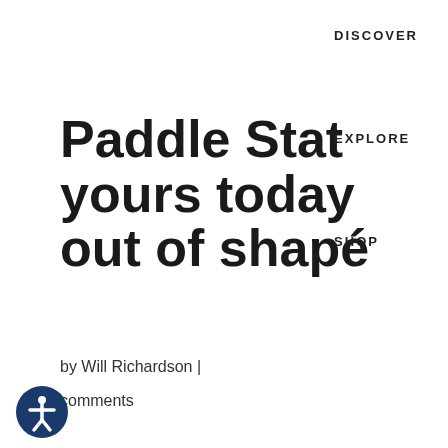DISCOVER
Paddle Stat yours today out of shape
by Will Richardson |
comments
EXPLORE
SHOP
Select Page
December 7, 2005
Many times people make kayak simu exercise machines of steel and resem ith two pulleys in you to do forward
FISHING
WHITEWATER
RECREATION
COOLERS &